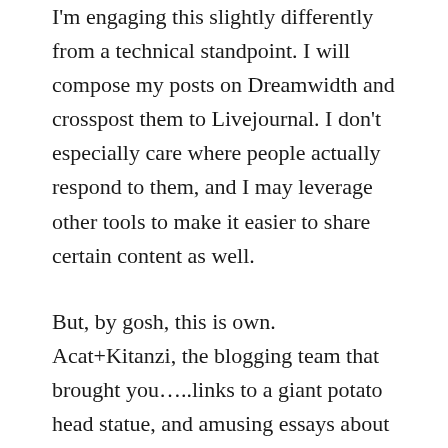I'm engaging this slightly differently from a technical standpoint. I will compose my posts on Dreamwidth and crosspost them to Livejournal. I don't especially care where people actually respond to them, and I may leverage other tools to make it easier to share certain content as well.
But, by gosh, this is own. Acat+Kitanzi, the blogging team that brought you…..links to a giant potato head statue, and amusing essays about our wedding and honeymoon, and con reports and strange song lyrics. All that, and more, so watch this space.
Stealing from my lovely wife, let's open the floor for questions. Ask me a question, any question at all. The floor is entirely open.